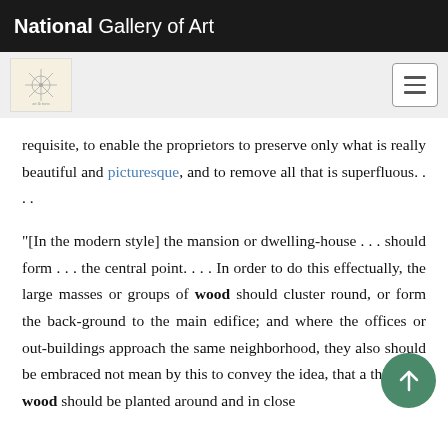National Gallery of Art
requisite, to enable the proprietors to preserve only what is really beautiful and picturesque, and to remove all that is superfluous. . . .
“[In the modern style] the mansion or dwelling-house . . . should form . . . the central point. . . . In order to do this effectually, the large masses or groups of wood should cluster round, or form the back-ground to the main edifice; and where the offices or out-buildings approach the same neighborhood, they also should be embraced not mean by this to convey the idea, that a thi wood should be planted around and in close